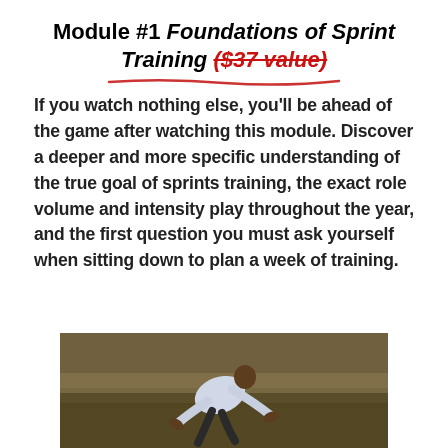Module #1 Foundations of Sprint Training ($37 value)
If you watch nothing else, you'll be ahead of the game after watching this module. Discover a deeper and more specific understanding of the true goal of sprints training, the exact role volume and intensity play throughout the year, and the first question you must ask yourself when sitting down to plan a week of training.
[Figure (photo): A person in a white shirt sprinting or running in an outdoor field, captured mid-stride with hands spread open, background is a grassy/dirt area.]